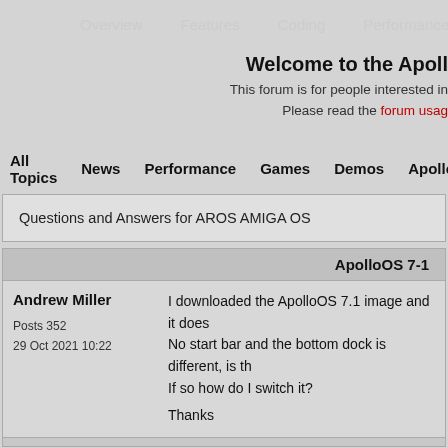Overview   Features   Coding   Performance   Forum
Welcome to the Apoll
This forum is for people interested in
Please read the forum usag
All Topics   News   Performance   Games   Demos   Apollo
Questions and Answers for AROS AMIGA OS
ApolloOS 7-1
Andrew Miller
Posts 352
29 Oct 2021 10:22

I downloaded the ApolloOS 7.1 image and it does
No start bar and the bottom dock is different, is th
If so how do I switch it?

Thanks